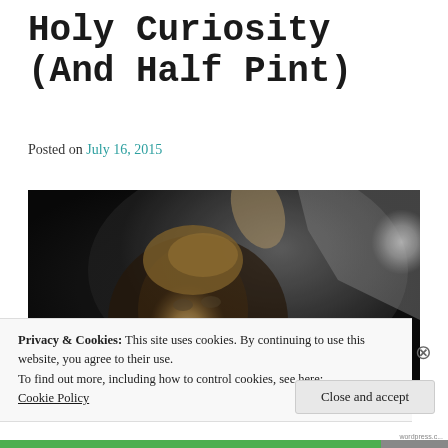Holy Curiosity (And Half Pint)
Posted on July 16, 2015
[Figure (photo): A woman with braided/styled hair in period costume, looking upward, partially obscured by a shimmery fabric or cloth, set against a dark/stone background.]
Privacy & Cookies: This site uses cookies. By continuing to use this website, you agree to their use.
To find out more, including how to control cookies, see here:
Cookie Policy
Close and accept